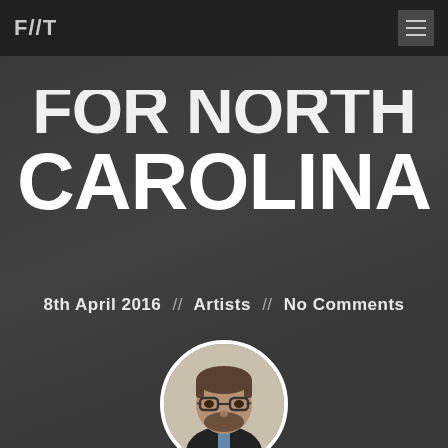F//T
FOR NORTH CAROLINA
8th April 2016  //  Artists  //  No Comments
[Figure (photo): Circular avatar photo of Scott Edgar, a man with glasses and a beard wearing a dark suit and tie, against a light background. The photo is cropped in a circle with a white border.]
BY SCOTT EDGAR